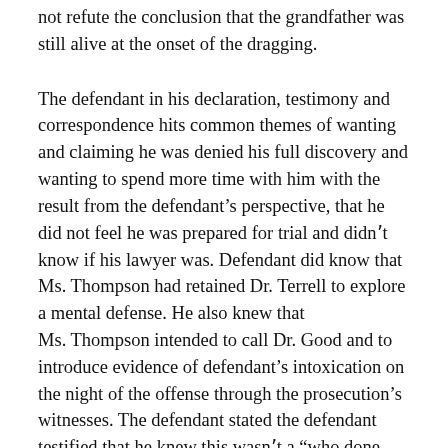not refute the conclusion that the grandfather was still alive at the onset of the dragging.
The defendant in his declaration, testimony and correspondence hits common themes of wanting and claiming he was denied his full discovery and wanting to spend more time with him with the result from the defendant's perspective, that he did not feel he was prepared for trial and didn't know if his lawyer was. Defendant did know that Ms. Thompson had retained Dr. Terrell to explore a mental defense. He also knew that Ms. Thompson intended to call Dr. Good and to introduce evidence of defendant's intoxication on the night of the offense through the prosecution's witnesses. The defendant stated the defendant testified that he knew this wasn't a "who done it?" and there was no issue of self-defense. The defendant knew he had killed his grandfather and that he had made a number of statements about the killing, many of which